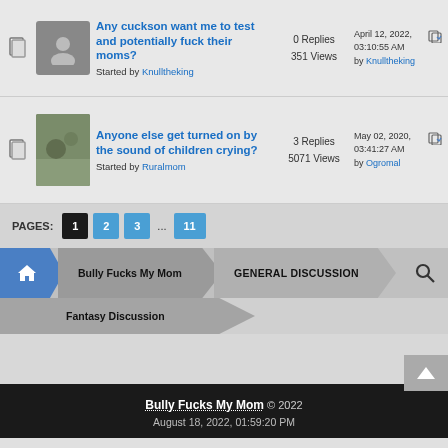Any cuckson want me to test and potentially fuck their moms? Started by Knulltheking — 0 Replies 351 Views — April 12, 2022, 03:10:55 AM by Knulltheking
Anyone else get turned on by the sound of children crying? Started by Ruralmom — 3 Replies 5071 Views — May 02, 2020, 03:41:27 AM by Ogromal
PAGES: 1 2 3 ... 11
Bully Fucks My Mom  >  GENERAL DISCUSSION  >  Fantasy Discussion
Bully Fucks My Mom © 2022 — August 18, 2022, 01:59:20 PM